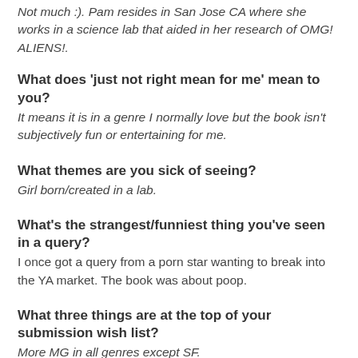Not much :). Pam resides in San Jose CA where she works in a science lab that aided in her research of OMG! ALIENS!.
What does 'just not right mean for me' mean to you? It means it is in a genre I normally love but the book isn't subjectively fun or entertaining for me.
What themes are you sick of seeing? Girl born/created in a lab.
What's the strangest/funniest thing you've seen in a query? I once got a query from a porn star wanting to break into the YA market. The book was about poop.
What three things are at the top of your submission wish list? More MG in all genres except SF.